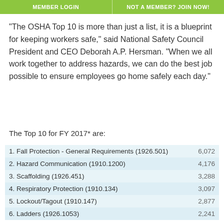MEMBER LOGIN | NOT A MEMBER? JOIN NOW!
“The OSHA Top 10 is more than just a list, it is a blueprint for keeping workers safe,” said National Safety Council President and CEO Deborah A.P. Hersman. “When we all work together to address hazards, we can do the best job possible to ensure employees go home safely each day.”
The Top 10 for FY 2017* are:
| Violation | Count |
| --- | --- |
| 1. Fall Protection - General Requirements (1926.501) | 6,072 |
| 2. Hazard Communication (1910.1200) | 4,176 |
| 3. Scaffolding (1926.451) | 3,288 |
| 4. Respiratory Protection (1910.134) | 3,097 |
| 5. Lockout/Tagout (1910.147) | 2,877 |
| 6. Ladders (1926.1053) | 2,241 |